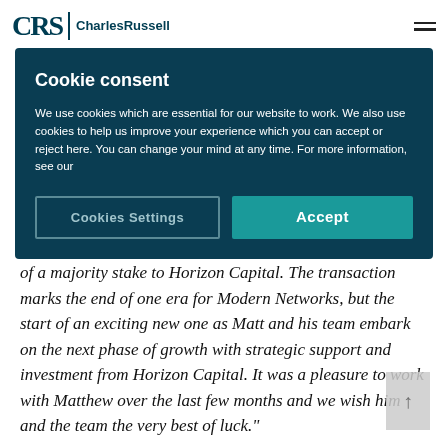CRS | CharlesRussell
Cookie consent
We use cookies which are essential for our website to work. We also use cookies to help us improve your experience which you can accept or reject here. You can change your mind at any time. For more information, see our
of a majority stake to Horizon Capital. The transaction marks the end of one era for Modern Networks, but the start of an exciting new one as Matt and his team embark on the next phase of growth with strategic support and investment from Horizon Capital. It was a pleasure to work with Matthew over the last few months and we wish him and the team the very best of luck."